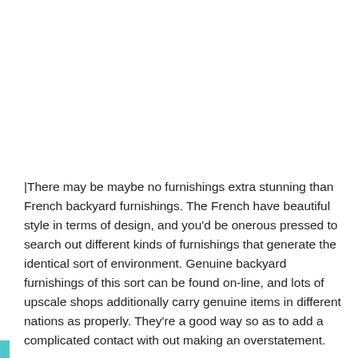|There may be maybe no furnishings extra stunning than French backyard furnishings. The French have beautiful style in terms of design, and you'd be onerous pressed to search out different kinds of furnishings that generate the identical sort of environment. Genuine backyard furnishings of this sort can be found on-line, and lots of upscale shops additionally carry genuine items in different nations as properly. They're a good way so as to add a complicated contact with out making an overstatement.